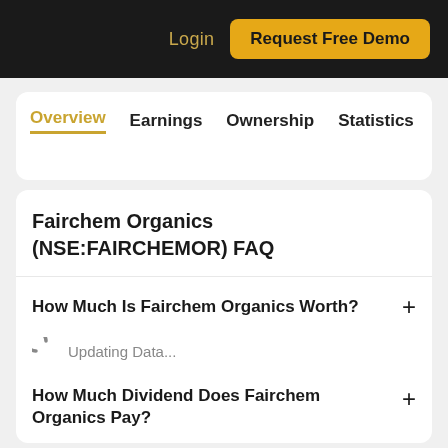Login   Request Free Demo
Overview   Earnings   Ownership   Statistics
Fairchem Organics (NSE:FAIRCHEMOR) FAQ
How Much Is Fairchem Organics Worth?  +
Updating Data...
How Much Dividend Does Fairchem Organics Pay?  +